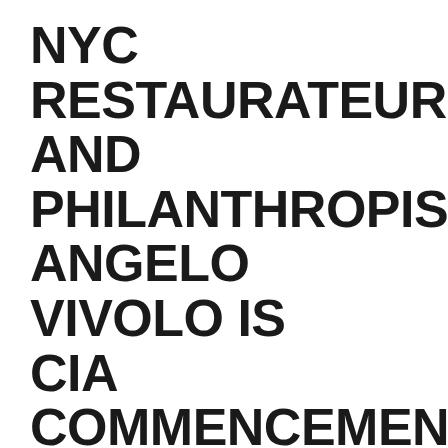NYC RESTAURATEUR AND PHILANTHROPIST ANGELO VIVOLO IS CIA COMMENCEMENT KEYNOTE SPEAKER
Posted: Thursday, May 11, 2017
Hyde Park, NY – Graduates of The Culinary Institute of America learned the importance of paying it forward when Angelo Vivolo, owner of Vivolo Restaurant Group in New York City, delivered the commencement address at the